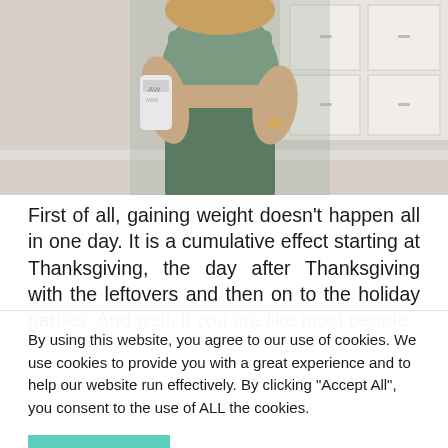[Figure (photo): Woman in green athletic wear holding a can, standing in a white kitchen]
First of all, gaining weight doesn't happen all in one day. It is a cumulative effect starting at Thanksgiving, the day after Thanksgiving with the leftovers and then on to the holiday parties. And well, if you are like most people
By using this website, you agree to our use of cookies. We use cookies to provide you with a great experience and to help our website run effectively. By clicking "Accept All", you consent to the use of ALL the cookies.
Accept All